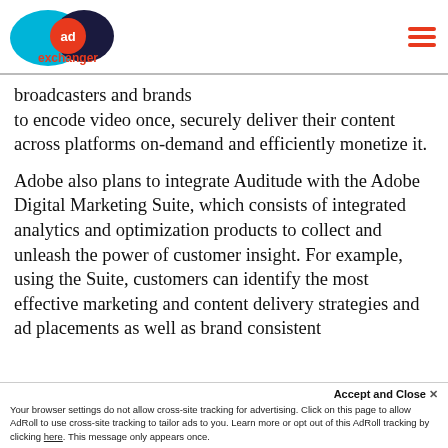AdExchanger logo and navigation
broadcasters and brands to encode video once, securely deliver their content across platforms on-demand and efficiently monetize it.
Adobe also plans to integrate Auditude with the Adobe Digital Marketing Suite, which consists of integrated analytics and optimization products to collect and unleash the power of customer insight. For example, using the Suite, customers can identify the most effective marketing and content delivery strategies and ad placements as well as brand consistent
Accept and Close ✕ Your browser settings do not allow cross-site tracking for advertising. Click on this page to allow AdRoll to use cross-site tracking to tailor ads to you. Learn more or opt out of this AdRoll tracking by clicking here. This message only appears once.